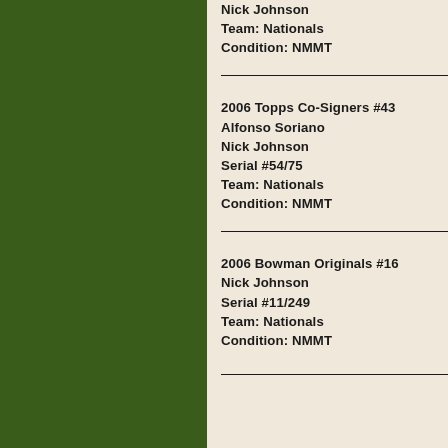Nick Johnson
Team: Nationals
Condition: NMMT
2006 Topps Co-Signers #43
Alfonso Soriano
Nick Johnson
Serial #54/75
Team: Nationals
Condition: NMMT
2006 Bowman Originals #16
Nick Johnson
Serial #11/249
Team: Nationals
Condition: NMMT